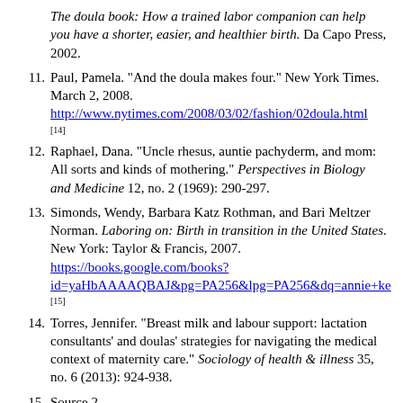The doula book: How a trained labor companion can help you have a shorter, easier, and healthier birth. Da Capo Press, 2002.
11. Paul, Pamela. "And the doula makes four." New York Times. March 2, 2008. http://www.nytimes.com/2008/03/02/fashion/02doula.html [14]
12. Raphael, Dana. "Uncle rhesus, auntie pachyderm, and mom: All sorts and kinds of mothering." Perspectives in Biology and Medicine 12, no. 2 (1969): 290-297.
13. Simonds, Wendy, Barbara Katz Rothman, and Bari Meltzer Norman. Laboring on: Birth in transition in the United States. New York: Taylor & Francis, 2007. https://books.google.com/books?id=yaHbAAAAQBAJ&pg=PA256&lpg=PA256&dq=annie+ke [15]
14. Torres, Jennifer. "Breast milk and labour support: lactation consultants' and doulas' strategies for navigating the medical context of maternity care." Sociology of health & illness 35, no. 6 (2013): 924-938.
15. Source 2
In 1992, five maternal-infant health researchers founded Doulas of North America, later renamed DONA International to train certified birth attendants called doulas to provide care to pregnant